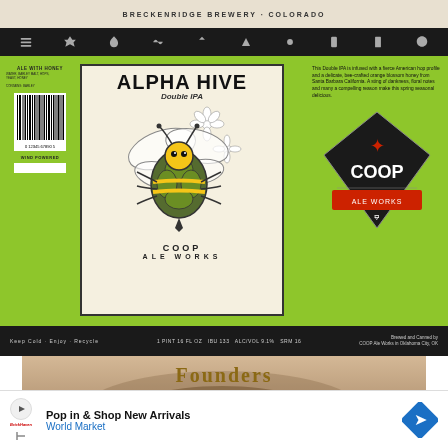BRECKENRIDGE BREWERY · COLORADO
[Figure (illustration): Navigation bar with icons for various beer-related categories on dark background]
[Figure (illustration): COOP Ale Works Alpha Hive Double IPA beer can label on lime green background. Center shows a bee with hop-shaped body and flowers, text reads ALPHA HIVE Double IPA / COOP ALE WORKS. Left side shows ALT WITH HONEY and barcode. Right side shows description text and COOP logo diamond badge.]
Keep Cold · Enjoy · Recycle
1 PINT 16 FL OZ  IBU 133  ALC/VOL 9.1%  SRM 16
Brewed and Canned by COOP Ale Works in Oklahoma City, OK
[Figure (photo): Founders brewery product label with brown/tan tones, showing 'Founders' in gold lettering and partial cursive text below]
[Figure (advertisement): Advertisement for World Market: 'Pop in & Shop New Arrivals' with blue diamond arrow logo]